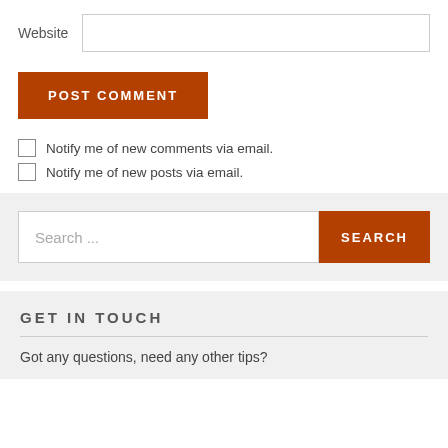Website
POST COMMENT
Notify me of new comments via email.
Notify me of new posts via email.
Search ...
SEARCH
GET IN TOUCH
Got any questions, need any other tips?